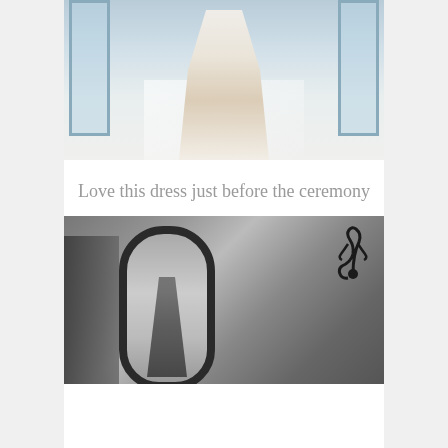[Figure (photo): Color photo of a white lace wedding dress held up near a window, with a long train spread out on the floor. The dress features floral lace appliqué. Large windows visible in the background.]
Love this dress just before the ceremony
[Figure (photo): Black and white photo of a bride looking at herself in an ornate oval mirror. She is wearing a floral crown and has long curly hair. A decorative wall sconce is visible in the upper right. A dark silhouette of another person is visible on the left edge.]